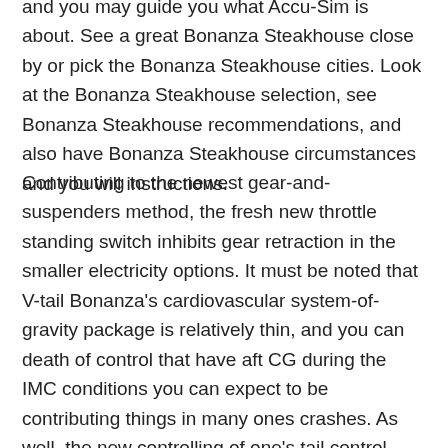and you may guide you what Accu-Sim is about. See a great Bonanza Steakhouse close by or pick the Bonanza Steakhouse cities. Look at the Bonanza Steakhouse selection, see Bonanza Steakhouse recommendations, and also have Bonanza Steakhouse circumstances and you will instructions.
Contributing to the newest gear-and-suspenders method, the fresh new throttle standing switch inhibits gear retraction in the smaller electricity options. It must be noted that V-tail Bonanza's cardiovascular system-of-gravity package is relatively thin, and you can death of control that have aft CG during the IMC conditions you can expect to be contributing things in many ones crashes. As well, the new controlling of one's tail control counters is crucial to end streamlined flutter. Unbalanced manage surfaces still create problems, so it's very important, pursuing the aircraft try painted otherwise work done into the end, to check the counters are exactly in the endurance. A prominent cause of Bonanza IFR/IMC accidents